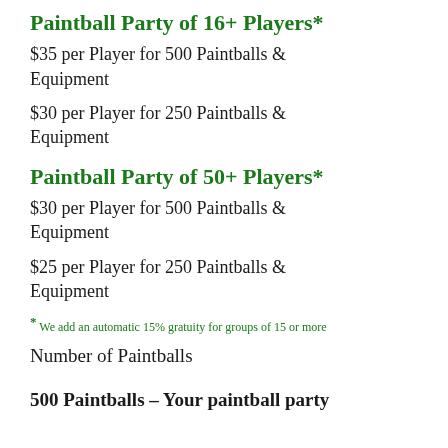Paintball Party of 16+ Players*
$35 per Player for 500 Paintballs & Equipment
$30 per Player for 250 Paintballs & Equipment
Paintball Party of 50+ Players*
$30 per Player for 500 Paintballs & Equipment
$25 per Player for 250 Paintballs & Equipment
* We add an automatic 15% gratuity for groups of 15 or more
Number of Paintballs
500 Paintballs – Your paintball party